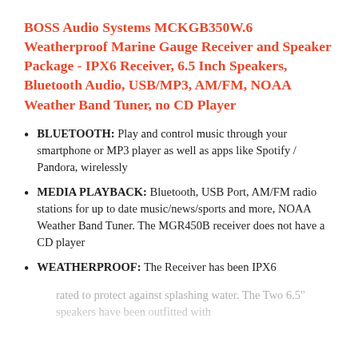BOSS Audio Systems MCKGB350W.6 Weatherproof Marine Gauge Receiver and Speaker Package - IPX6 Receiver, 6.5 Inch Speakers, Bluetooth Audio, USB/MP3, AM/FM, NOAA Weather Band Tuner, no CD Player
BLUETOOTH: Play and control music through your smartphone or MP3 player as well as apps like Spotify / Pandora, wirelessly
MEDIA PLAYBACK: Bluetooth, USB Port, AM/FM radio stations for up to date music/news/sports and more, NOAA Weather Band Tuner. The MGR450B receiver does not have a CD player
WEATHERPROOF: The Receiver has been IPX6 rated to protect against splashing water. The Two 6.5" speakers have been outfitted with